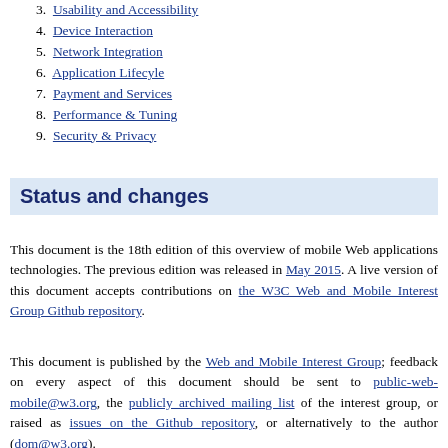3. Usability and Accessibility
4. Device Interaction
5. Network Integration
6. Application Lifecyle
7. Payment and Services
8. Performance & Tuning
9. Security & Privacy
Status and changes
This document is the 18th edition of this overview of mobile Web applications technologies. The previous edition was released in May 2015. A live version of this document accepts contributions on the W3C Web and Mobile Interest Group Github repository.
This document is published by the Web and Mobile Interest Group; feedback on every aspect of this document should be sent to public-web-mobile@w3.org, the publicly archived mailing list of the interest group, or raised as issues on the Github repository, or alternatively to the author (dom@w3.org).